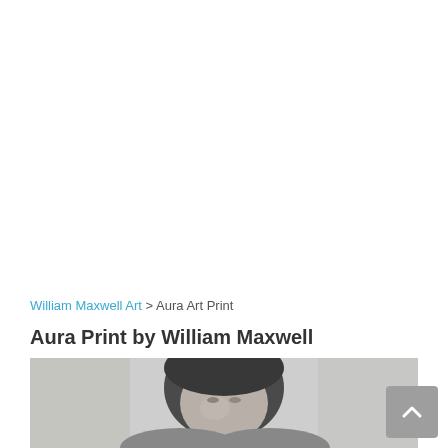William Maxwell Art > Aura Art Print
Aura Print by William Maxwell
[Figure (photo): Grayscale portrait photograph showing a person with dark hair, partially visible face, cropped at the bottom of the page.]